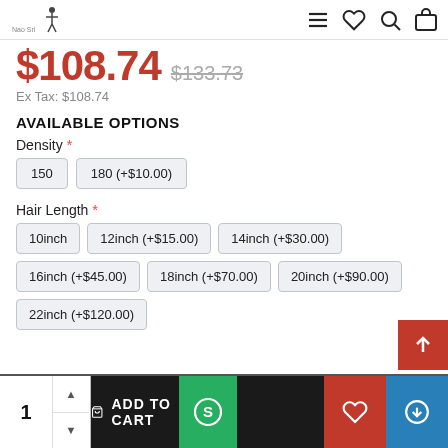Navigation header with logo and icons (hamburger menu, heart, search, cart)
$108.74  $133.73
Ex Tax: $108.74
AVAILABLE OPTIONS
Density *
150
180 (+$10.00)
Hair Length *
10inch
12inch (+$15.00)
14inch (+$30.00)
16inch (+$45.00)
18inch (+$70.00)
20inch (+$90.00)
22inch (+$120.00)
1  ADD TO CART  $ (green)  ♡ (red)  ⊕ (blue)